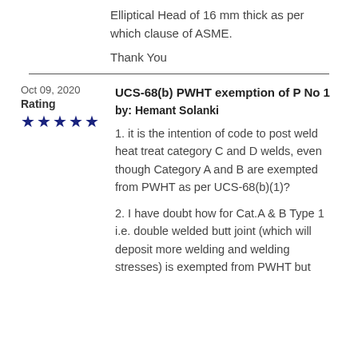Elliptical Head of 16 mm thick as per which clause of ASME.
Thank You
Oct 09, 2020
Rating
UCS-68(b) PWHT exemption of P No 1
by: Hemant Solanki
1. it is the intention of code to post weld heat treat category C and D welds, even though Category A and B are exempted from PWHT as per UCS-68(b)(1)?
2. I have doubt how for Cat.A & B Type 1 i.e. double welded butt joint (which will deposit more welding and welding stresses) is exempted from PWHT but